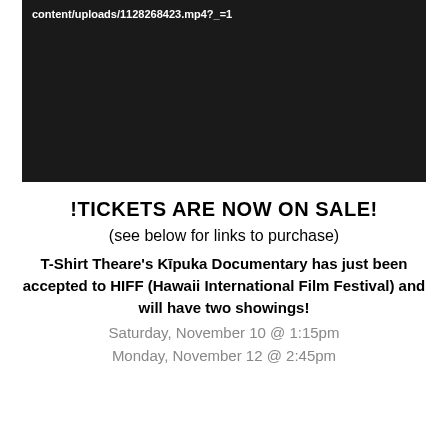[Figure (screenshot): Dark/black video player embed showing a URL path: content/uploads/1128268423.mp4?_=1 in white text on dark background]
!TICKETS ARE NOW ON SALE!
(see below for links to purchase)
T-Shirt Theare's Kīpuka Documentary has just been accepted to HIFF (Hawaii International Film Festival) and will have two showings!
Saturday, November 10 @ 1:15pm
Monday, November 12 @ 2:45pm